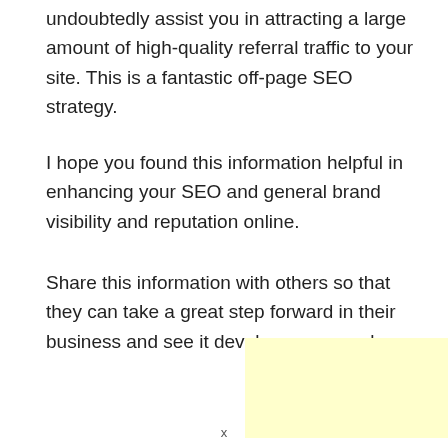undoubtedly assist you in attracting a large amount of high-quality referral traffic to your site. This is a fantastic off-page SEO strategy.
I hope you found this information helpful in enhancing your SEO and general brand visibility and reputation online.
Share this information with others so that they can take a great step forward in their business and see it develop enormously.
[Figure (other): A light yellow rectangular advertisement or placeholder box]
x